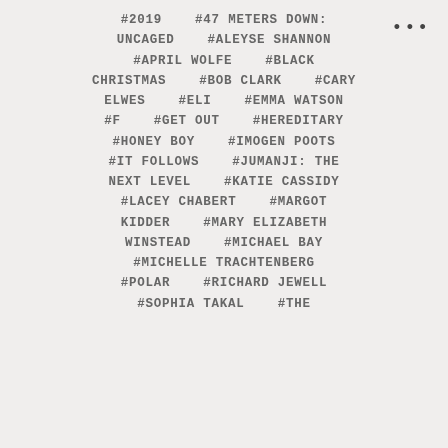#2019  #47 METERS DOWN: UNCAGED  #ALEYSE SHANNON  #APRIL WOLFE  #BLACK CHRISTMAS  #BOB CLARK  #CARY ELWES  #ELI  #EMMA WATSON  #F  #GET OUT  #HEREDITARY  #HONEY BOY  #IMOGEN POOTS  #IT FOLLOWS  #JUMANJI: THE NEXT LEVEL  #KATIE CASSIDY  #LACEY CHABERT  #MARGOT KIDDER  #MARY ELIZABETH WINSTEAD  #MICHAEL BAY  #MICHELLE TRACHTENBERG  #POLAR  #RICHARD JEWELL  #SOPHIA TAKAL  #THE